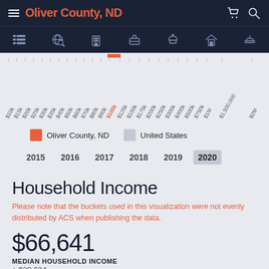Oliver County, ND
[Figure (other): Horizontal axis labels (rotated) for household income histogram showing income brackets from $10k to $2M, with a partial chart visible at top]
[Figure (infographic): Legend showing Oliver County, ND (orange swatch) and United States (gray swatch)]
[Figure (infographic): Year selector tabs: 2015, 2016, 2017, 2018, 2019, 2020 (2020 highlighted)]
Household Income
Please note that the buckets used in this visualization were not evenly distributed by ACS when publishing the data.
$66,641
MEDIAN HOUSEHOLD INCOME
± $20,634